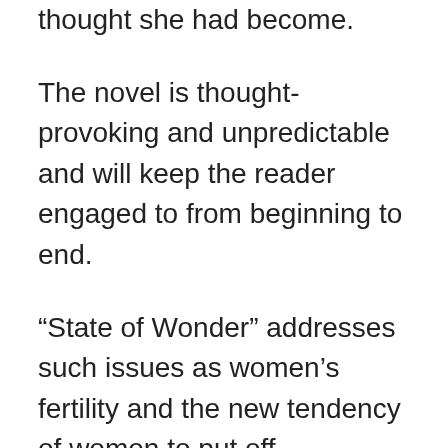thought she had become.
The novel is thought-provoking and unpredictable and will keep the reader engaged to from beginning to end.
“State of Wonder” addresses such issues as women’s fertility and the new tendency of women to put off childbearing until later in life. Whether scientists should only observe and report or whether they have a duty to step in and change things is another issue Ms. Patchett examines.
If a scientist changes the tribal environment by healing someone, for example, then the